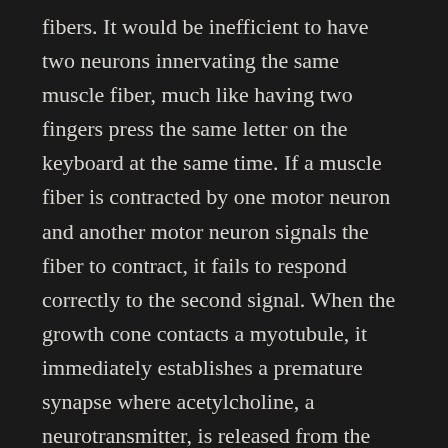fibers. It would be inefficient to have two neurons innervating the same muscle fiber, much like having two fingers press the same letter on the keyboard at the same time. If a muscle fiber is contracted by one motor neuron and another motor neuron signals the fiber to contract, it fails to respond correctly to the second signal. When the growth cone contacts a myotubule, it immediately establishes a premature synapse where acetylcholine, a neurotransmitter, is released from the axon onto the myotubule. Since this synapse is in its infancy, the myotubule does not have a sufficient number of acetylcholine receptors and responds inefficiently to the neuron. The absence of various presynaptic structures such as vesicle pools also results in the neuron releasing